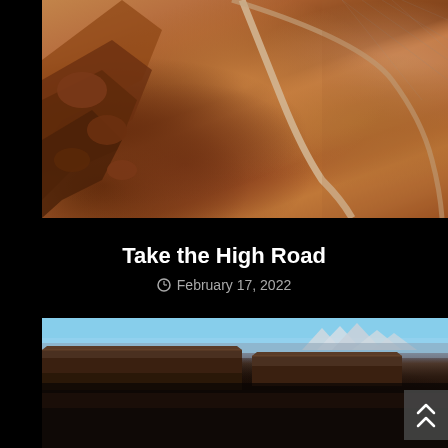[Figure (photo): Aerial view of a winding dirt road through red rock desert terrain with rocky outcroppings on the left side and sparse desert scrub vegetation]
Take the High Road
February 17, 2022
[Figure (photo): Landscape view of canyon mesa formations with flat-topped red rock cliffs, blue sky, and snow-capped mountains visible in the background distance]